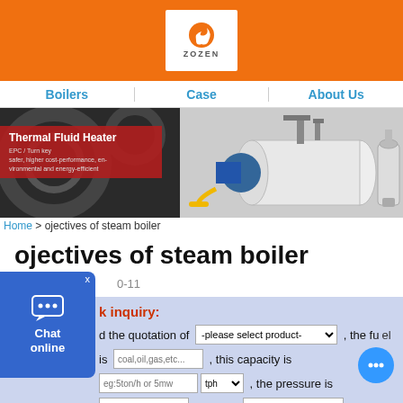[Figure (logo): ZOZEN boiler company logo with orange flame icon on white background, set in orange header bar]
Boilers  Case  About Us
[Figure (photo): Hero banner image: left side shows dark industrial background with red overlay banner reading 'Thermal Fluid Heater / EPC/Turn-key / safer, higher cost-performance, environmental and energy-efficient'; right side shows a white horizontal steam boiler with blue burner and yellow gas pipe connections, plus a cylindrical filter unit on the right]
Home > ojectives of steam boiler
ojectives of steam boiler
2019-10-11
Quick inquiry: I need the quotation of [product selector], the fuel is [coal,oil,gas,etc...], this capacity is [eg:5ton/h or 5mw] [tph], the pressure is [input], use for [eg:heating or power plant].